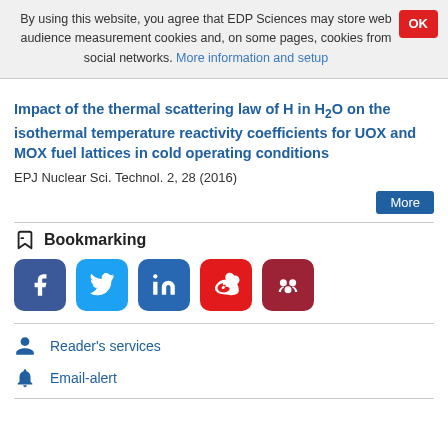By using this website, you agree that EDP Sciences may store web audience measurement cookies and, on some pages, cookies from social networks. More information and setup
Impact of the thermal scattering law of H in H2O on the isothermal temperature reactivity coefficients for UOX and MOX fuel lattices in cold operating conditions
EPJ Nuclear Sci. Technol. 2, 28 (2016)
Bookmarking
[Figure (infographic): Social sharing buttons: Facebook (blue), Twitter (light blue), LinkedIn (blue), Weibo (red), Mendeley (dark red)]
Reader's services
Email-alert